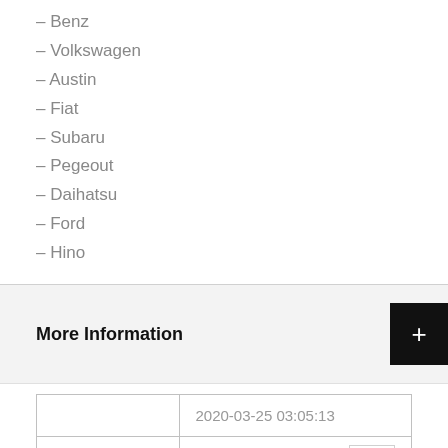- Benz
- Volkswagen
- Austin
- Fiat
- Subaru
- Pegeout
- Daihatsu
- Ford
- Hino
More Information
|  |  |
| --- | --- |
|  | 2020-03-25 03:05:13 |
| Car's brand | Datsun |
| Car's type | Vintage |